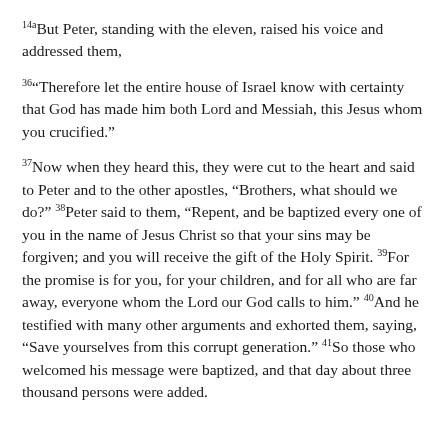14aBut Peter, standing with the eleven, raised his voice and addressed them,
36“Therefore let the entire house of Israel know with certainty that God has made him both Lord and Messiah, this Jesus whom you crucified.”
37Now when they heard this, they were cut to the heart and said to Peter and to the other apostles, “Brothers, what should we do?” 38Peter said to them, “Repent, and be baptized every one of you in the name of Jesus Christ so that your sins may be forgiven; and you will receive the gift of the Holy Spirit. 39For the promise is for you, for your children, and for all who are far away, everyone whom the Lord our God calls to him.” 40And he testified with many other arguments and exhorted them, saying, “Save yourselves from this corrupt generation.” 41So those who welcomed his message were baptized, and that day about three thousand persons were added.